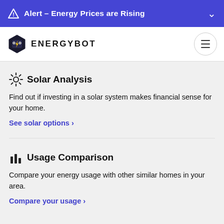Alert – Energy Prices are Rising
[Figure (logo): EnergyBot logo with hexagon robot icon and text ENERGYBOT]
Solar Analysis
Find out if investing in a solar system makes financial sense for your home.
See solar options ›
Usage Comparison
Compare your energy usage with other similar homes in your area.
Compare your usage ›